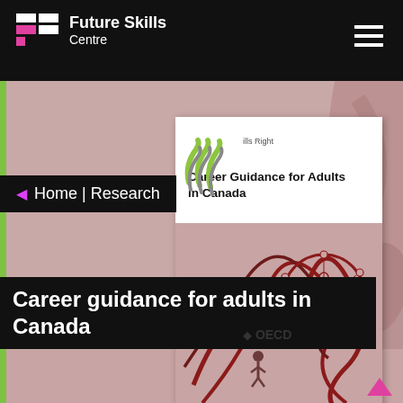[Figure (logo): Future Skills Centre logo with coloured squares and text on black header bar]
Future Skills Centre
Home | Research
[Figure (illustration): OECD publication cover: Career Guidance for Adults in Canada, showing a figure navigating tangled red paths with a network diagram circle, on pinkish background]
Getting Skills Right
Career Guidance for Adults in Canada
RESEARCH
Career guidance for adults in Canada
OECD